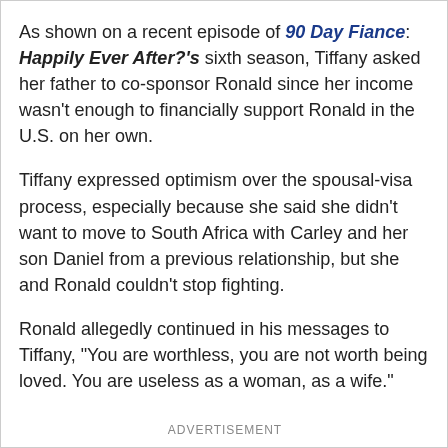As shown on a recent episode of 90 Day Fiance: Happily Ever After?'s sixth season, Tiffany asked her father to co-sponsor Ronald since her income wasn't enough to financially support Ronald in the U.S. on her own.
Tiffany expressed optimism over the spousal-visa process, especially because she said she didn't want to move to South Africa with Carley and her son Daniel from a previous relationship, but she and Ronald couldn't stop fighting.
Ronald allegedly continued in his messages to Tiffany, "You are worthless, you are not worth being loved. You are useless as a woman, as a wife."
ADVERTISEMENT